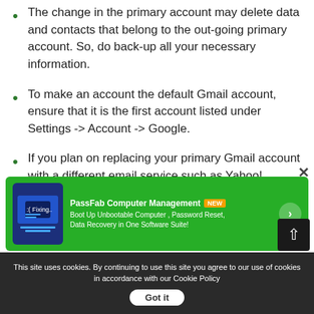The change in the primary account may delete data and contacts that belong to the out-going primary account. So, do back-up all your necessary information.
To make an account the default Gmail account, ensure that it is the first account listed under Settings -> Account -> Google.
If you plan on replacing your primary Gmail account with a different email service such as Yahoo!, Hotmail, Rediffmail, etc., do so at your discretion.
[Figure (screenshot): PassFab Computer Management advertisement banner with green background, showing app icon and text 'PassFab Computer Management NEW - Boot Up Unbootable Computer, Password Reset, Data Recovery in One Software Suite!']
No[te:] ... account on your Android phone
This site uses cookies. By continuing to use this site you agree to our use of cookies in accordance with our Cookie Policy   Got it